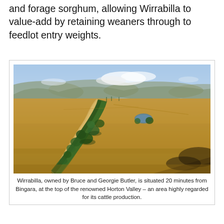and forage sorghum, allowing Wirrabilla to value-add by retaining weaners through to feedlot entry weights.
[Figure (photo): Aerial drone photograph of Wirrabilla station, showing vast flat golden-brown plains with a winding dry creek bed lined with green trees, a small water body visible in the middle distance, and distant mountain ranges under a partly cloudy sky.]
Wirrabilla, owned by Bruce and Georgie Butler, is situated 20 minutes from Bingara, at the top of the renowned Horton Valley – an area highly regarded for its cattle production.